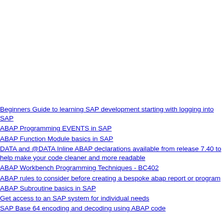Beginners Guide to learning SAP development starting with logging into SAP
ABAP Programming EVENTS in SAP
ABAP Function Module basics in SAP
DATA and @DATA Inline ABAP declarations available from release 7.40 to help make your code cleaner and more readable
ABAP Workbench Programming Techniques - BC402
ABAP rules to consider before creating a bespoke abap report or program
ABAP Subroutine basics in SAP
Get access to an SAP system for individual needs
SAP Base 64 encoding and decoding using ABAP code